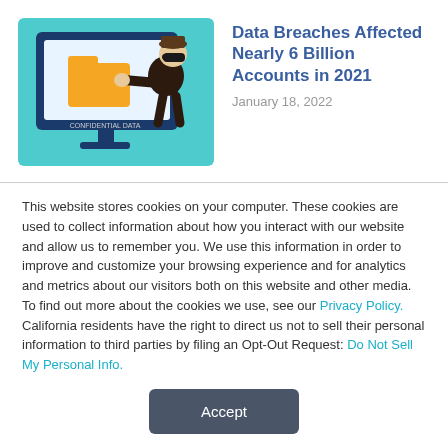[Figure (illustration): Cartoon illustration of a thief in black outfit and mask stealing data from a computer monitor labeled 'CONFIDENTIAL DATA' with a yellow folder on screen, on a teal/light blue background.]
Data Breaches Affected Nearly 6 Billion Accounts in 2021
January 18, 2022
This website stores cookies on your computer. These cookies are used to collect information about how you interact with our website and allow us to remember you. We use this information in order to improve and customize your browsing experience and for analytics and metrics about our visitors both on this website and other media. To find out more about the cookies we use, see our Privacy Policy. California residents have the right to direct us not to sell their personal information to third parties by filing an Opt-Out Request: Do Not Sell My Personal Info.
Accept